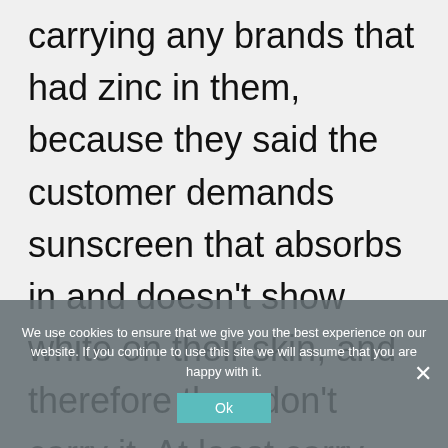carrying any brands that had zinc in them, because they said the customer demands sunscreen that absorbs in and doesn't show white on their skin, and therefore they don't carry it. At least carry one brand, even if no one's hardly buying it. Carry it – you're a health food place, after all. But could you talk a little bit about sunscreen
We use cookies to ensure that we give you the best experience on our website. If you continue to use this site we will assume that you are happy with it.